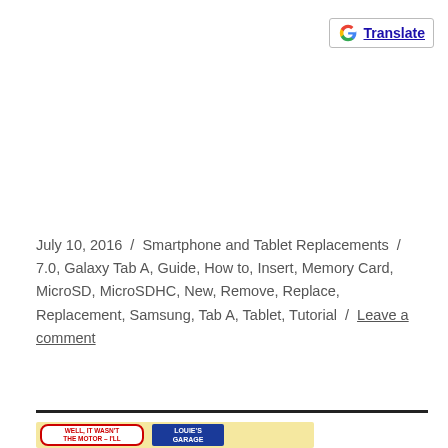[Figure (logo): Google Translate button with G logo and underlined blue Translate text, bordered box top-right]
July 10, 2016 / Smartphone and Tablet Replacements / 7.0, Galaxy Tab A, Guide, How to, Insert, Memory Card, MicroSD, MicroSDHC, New, Remove, Replace, Replacement, Samsung, Tab A, Tablet, Tutorial / Leave a comment
[Figure (illustration): Bottom portion showing two signs on a yellow background: left sign with red border saying WELL IT WASN'T THE MOTOR – I'LL, and right blue sign saying LOUIE'S GARAGE]